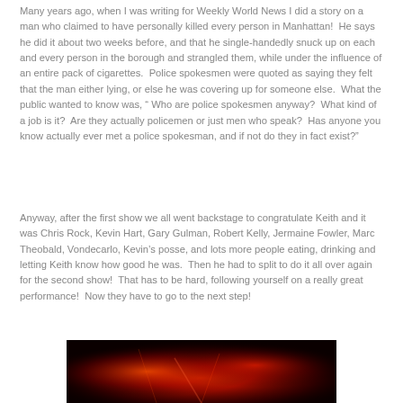Many years ago, when I was writing for Weekly World News I did a story on a man who claimed to have personally killed every person in Manhattan!  He says he did it about two weeks before, and that he single-handedly snuck up on each and every person in the borough and strangled them, while under the influence of an entire pack of cigarettes.  Police spokesmen were quoted as saying they felt that the man either lying, or else he was covering up for someone else.  What the public wanted to know was, " Who are police spokesmen anyway?  What kind of a job is it?  Are they actually policemen or just men who speak?  Has anyone you know actually ever met a police spokesman, and if not do they in fact exist?"
Anyway, after the first show we all went backstage to congratulate Keith and it was Chris Rock, Kevin Hart, Gary Gulman, Robert Kelly, Jermaine Fowler, Marc Theobald, Vondecarlo, Kevin’s posse, and lots more people eating, drinking and letting Keith know how good he was.  Then he had to split to do it all over again for the second show!  That has to be hard, following yourself on a really great performance!  Now they have to go to the next step!
[Figure (photo): Dark reddish-orange stage lighting photo, appears to show a concert or performance stage with dramatic red/orange light effects against a dark background.]